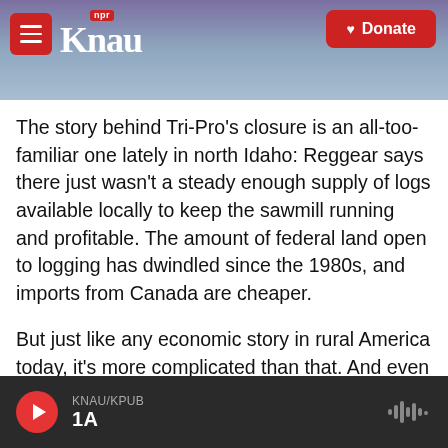KNAU NPR — Donate
The story behind Tri-Pro's closure is an all-too-familiar one lately in north Idaho: Reggear says there just wasn't a steady enough supply of logs available locally to keep the sawmill running and profitable. The amount of federal land open to logging has dwindled since the 1980s, and imports from Canada are cheaper.
But just like any economic story in rural America today, it's more complicated than that. And even in Idaho's deeply conservative timber country, there are mixed feelings over whether President-elect Donald Trump can do much to turn things around.
KNAU/KPUB 1A